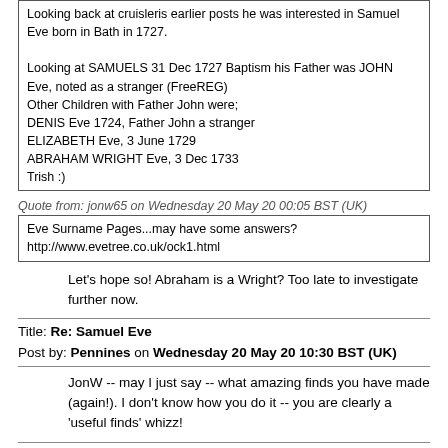Looking back at cruisleris earlier posts he was interested in Samuel Eve born in Bath in 1727.

Looking at SAMUELS 31 Dec 1727 Baptism his Father was JOHN Eve, noted as a stranger (FreeREG)
Other Children with Father John were;
DENIS Eve 1724, Father John a stranger
ELIZABETH Eve, 3 June 1729
ABRAHAM WRIGHT Eve, 3 Dec 1733
Trish :)
Quote from: jonw65 on Wednesday 20 May 20 00:05 BST (UK)
Eve Surname Pages...may have some answers?
http://www.evetree.co.uk/ock1.html
Let's hope so! Abraham is a Wright? Too late to investigate further now.
Title: Re: Samuel Eve
Post by: Pennines on Wednesday 20 May 20 10:30 BST (UK)
JonW -- may I just say -- what amazing finds you have made (again!). I don't know how you do it -- you are clearly a 'useful finds' whizz!
Title: Re: Samuel Eve
Post by: trish1120 on Wednesday 20 May 20 13:42 BST (UK)
Gosh I can hardly remember yesterday let alone 4 years ago
;D